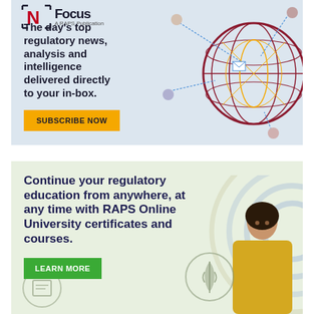[Figure (illustration): RAPS Focus newsletter advertisement. Header shows stylized 'N' logo with 'Focus - A RAPS Publication' text. Main text: 'The day's top regulatory news, analysis and intelligence delivered directly to your in-box.' Orange 'SUBSCRIBE NOW' button. Decorative globe illustration with figures on right side.]
[Figure (illustration): RAPS Online University advertisement on light green background. Text: 'Continue your regulatory education from anywhere, at any time with RAPS Online University certificates and courses.' Green 'LEARN MORE' button. Decorative concentric circles and woman's photo on right, pharmacy/caduceus icon and document icon at bottom.]